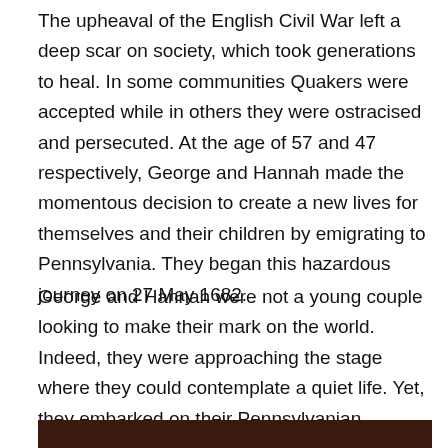The upheaval of the English Civil War left a deep scar on society, which took generations to heal. In some communities Quakers were accepted while in others they were ostracised and persecuted. At the age of 57 and 47 respectively, George and Hannah made the momentous decision to create a new lives for themselves and their children by emigrating to Pennsylvania. They began this hazardous journey on 27 May 1682.
George and Hannah were not a young couple looking to make their mark on the world. Indeed, they were approaching the stage where they could contemplate a quiet life. Yet, they embarked on their Pennsylvanian adventure. This suggests that their commitment to the Quaker cause ran deep and was central to their lives.
[Figure (photo): Partial view of a dark reddish-brown image, appears to be a historical photograph or illustration, cropped at bottom of page.]